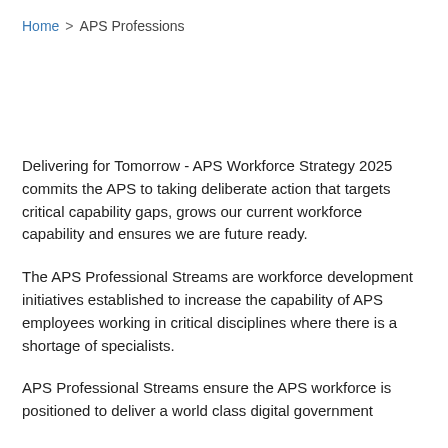Home > APS Professions
Delivering for Tomorrow - APS Workforce Strategy 2025 commits the APS to taking deliberate action that targets critical capability gaps, grows our current workforce capability and ensures we are future ready.
The APS Professional Streams are workforce development initiatives established to increase the capability of APS employees working in critical disciplines where there is a shortage of specialists.
APS Professional Streams ensure the APS workforce is positioned to deliver a world class digital government